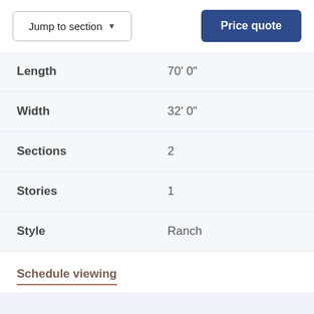Jump to section ▾
Price quote
| Property | Value |
| --- | --- |
| Length | 70' 0" |
| Width | 32' 0" |
| Sections | 2 |
| Stories | 1 |
| Style | Ranch |
Schedule viewing
TOURS & VIDEOS
¿Hablas español?